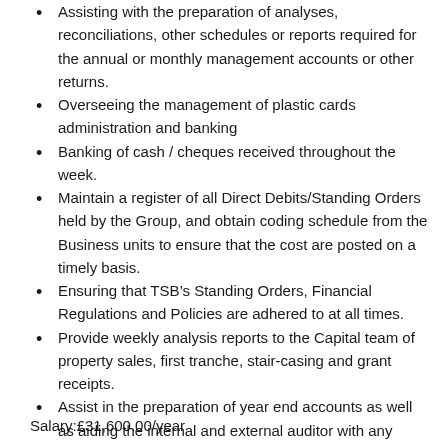Assisting with the preparation of analyses, reconciliations, other schedules or reports required for the annual or monthly management accounts or other returns.
Overseeing the management of plastic cards administration and banking
Banking of cash / cheques received throughout the week.
Maintain a register of all Direct Debits/Standing Orders held by the Group, and obtain coding schedule from the Business units to ensure that the cost are posted on a timely basis.
Ensuring that TSB's Standing Orders, Financial Regulations and Policies are adhered to at all times.
Provide weekly analysis reports to the Capital team of property sales, first tranche, stair-casing and grant receipts.
Assist in the preparation of year end accounts as well as aiding the internal and external auditor with any queries
Salary:£31,600.00/year